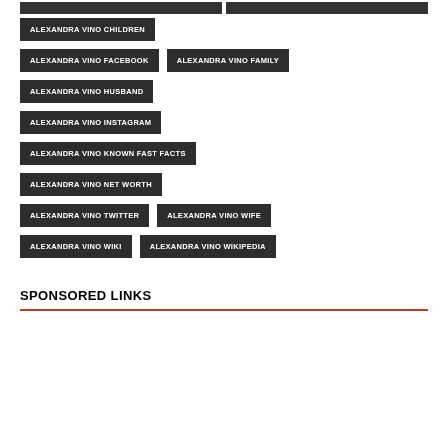ALEXANDRA VINO CHILDREN
ALEXANDRA VINO FACEBOOK
ALEXANDRA VINO FAMILY
ALEXANDRA VINO HUSBAND
ALEXANDRA VINO INSTAGRAM
ALEXANDRA VINO KNOWN FAST FACTS
ALEXANDRA VINO NET WORTH
ALEXANDRA VINO TWITTER
ALEXANDRA VINO WIFE
ALEXANDRA VINO WIKI
ALEXANDRA VINO WIKIPEDIA
SPONSORED LINKS